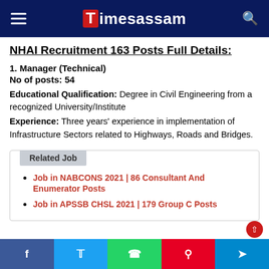Timesassam
NHAI Recruitment 163 Posts Full Details:
1. Manager (Technical)
No of posts: 54
Educational Qualification: Degree in Civil Engineering from a recognized University/Institute
Experience: Three years' experience in implementation of Infrastructure Sectors related to Highways, Roads and Bridges.
Related Job
Job in NABCONS 2021 | 86 Consultant And Enumerator Posts
Job in APSSB CHSL 2021 | 179 Group C Posts